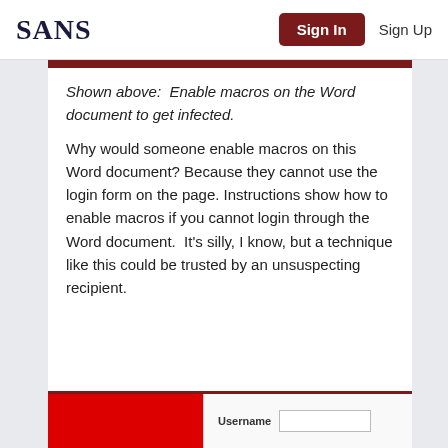SANS | Sign In | Sign Up
Shown above:  Enable macros on the Word document to get infected.
Why would someone enable macros on this Word document?  Because they cannot use the login form on the page.  Instructions show how to enable macros if you cannot login through the Word document.  It's silly, I know, but a technique like this could be trusted by an unsuspecting recipient.
[Figure (screenshot): Bottom portion showing a red block and a login form with Username field]